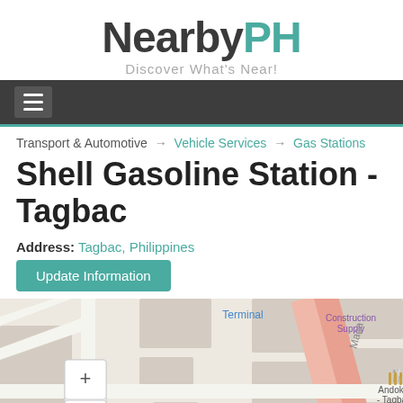NearbyPH
Discover What's Near!
Navigation menu
Transport & Automotive → Vehicle Services → Gas Stations
Shell Gasoline Station - Tagbac
Address: Tagbac, Philippines
Update Information
[Figure (map): Map showing Tagbac area with streets, Terminal label, Andok's - Tagbac restaurant marker, Construction Supply label, and a road labeled Maca. Zoom in/out controls visible on left.]